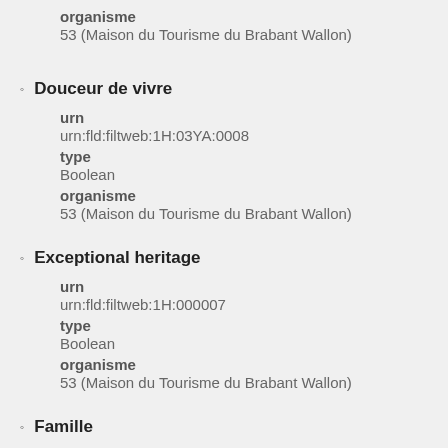organisme
53 (Maison du Tourisme du Brabant Wallon)
Douceur de vivre
urn
urn:fld:filtweb:1H:03YA:0008
type
Boolean
organisme
53 (Maison du Tourisme du Brabant Wallon)
Exceptional heritage
urn
urn:fld:filtweb:1H:000007
type
Boolean
organisme
53 (Maison du Tourisme du Brabant Wallon)
Famille
urn